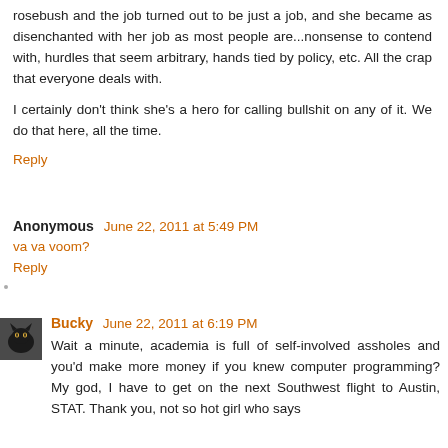rosebush and the job turned out to be just a job, and she became as disenchanted with her job as most people are...nonsense to contend with, hurdles that seem arbitrary, hands tied by policy, etc. All the crap that everyone deals with.
I certainly don't think she's a hero for calling bullshit on any of it. We do that here, all the time.
Reply
Anonymous June 22, 2011 at 5:49 PM
va va voom?
Reply
[Figure (photo): Small avatar photo of a black cat]
Bucky June 22, 2011 at 6:19 PM
Wait a minute, academia is full of self-involved assholes and you'd make more money if you knew computer programming? My god, I have to get on the next Southwest flight to Austin, STAT. Thank you, not so hot girl who says